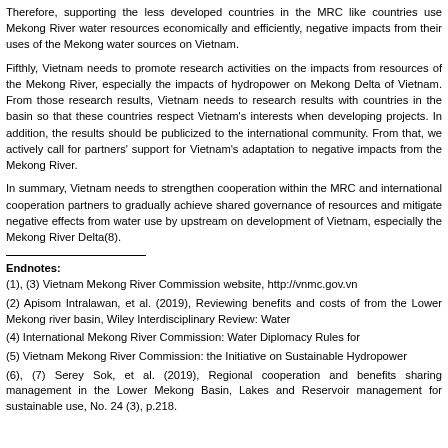Therefore, supporting the less developed countries in the MRC like countries use Mekong River water resources economically and efficiently, negative impacts from their uses of the Mekong water sources on Vietnam.
Fifthly, Vietnam needs to promote research activities on the impacts from resources of the Mekong River, especially the impacts of hydropower on Mekong Delta of Vietnam. From those research results, Vietnam needs to research results with countries in the basin so that these countries respect Vietnam's interests when developing projects. In addition, the results should be publicized to the international community. From that, we actively call for partners' support for Vietnam's adaptation to negative impacts from the Mekong River.
In summary, Vietnam needs to strengthen cooperation within the MRC and international cooperation partners to gradually achieve shared governance of resources and mitigate negative effects from water use by upstream on development of Vietnam, especially the Mekong River Delta(8).
Endnotes:
(1), (3) Vietnam Mekong River Commission website, http://vnmc.gov.vn
(2) Apisom Intralawan, et al. (2019), Reviewing benefits and costs of from the Lower Mekong river basin, Wiley Interdisciplinary Review: Water
(4) International Mekong River Commission: Water Diplomacy Rules for
(5) Vietnam Mekong River Commission: the Initiative on Sustainable Hydropower
(6), (7) Serey Sok, et al. (2019), Regional cooperation and benefits sharing management in the Lower Mekong Basin, Lakes and Reservoir management for sustainable use, No. 24 (3), p.218.